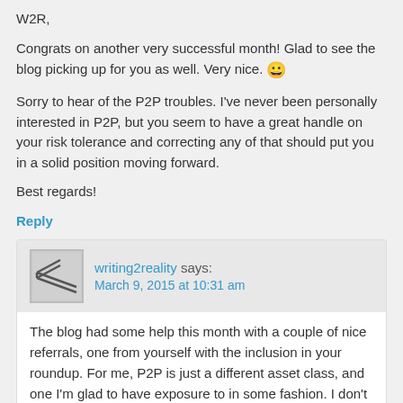W2R,
Congrats on another very successful month! Glad to see the blog picking up for you as well. Very nice. 😀
Sorry to hear of the P2P troubles. I've never been personally interested in P2P, but you seem to have a great handle on your risk tolerance and correcting any of that should put you in a solid position moving forward.
Best regards!
Reply
writing2reality says: March 9, 2015 at 10:31 am
The blog had some help this month with a couple of nice referrals, one from yourself with the inclusion in your roundup. For me, P2P is just a different asset class, and one I'm glad to have exposure to in some fashion. I don't plan on really leveraging traditional fixed income investments, so P2P fills that void for me in some way.